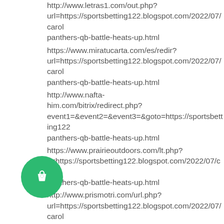http://www.letras1.com/out.php?url=https://sportsbetting122.blogspot.com/2022/07/carol-panthers-qb-battle-heats-up.html
https://www.miratucarta.com/es/redir?url=https://sportsbetting122.blogspot.com/2022/07/carol-panthers-qb-battle-heats-up.html
http://www.nafta-him.com/bitrix/redirect.php?event1=&event2=&event3=&goto=https://sportsbetting122-panthers-qb-battle-heats-up.html
https://www.prairieoutdoors.com/lt.php?lt=https://sportsbetting122.blogspot.com/2022/07/carolipanthers-qb-battle-heats-up.html
http://www.prismotri.com/url.php?url=https://sportsbetting122.blogspot.com/2022/07/carol-panthers-qb-battle-heats-up.html
http://prosticks.com/lang.asp?lang=en&url=https://sportsbetting122.blogspot.com/2022/